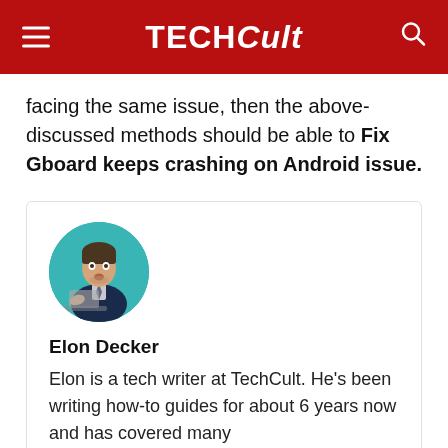TECHCult
facing the same issue, then the above-discussed methods should be able to Fix Gboard keeps crashing on Android issue.
[Figure (photo): Circular portrait photo of Elon Decker, a man in a suit looking surprised at a laptop, with a teal background]
Elon Decker
Elon is a tech writer at TechCult. He's been writing how-to guides for about 6 years now and has covered many